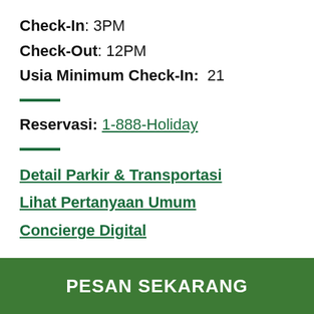Check-In: 3PM
Check-Out: 12PM
Usia Minimum Check-In: 21
Reservasi: 1-888-Holiday
Detail Parkir & Transportasi
Lihat Pertanyaan Umum
Concierge Digital
PESAN SEKARANG